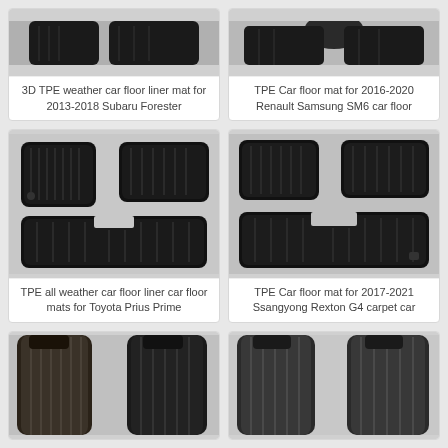[Figure (photo): Car floor mats for Subaru Forester, partial image at top]
3D TPE weather car floor liner mat for 2013-2018 Subaru Forester
[Figure (photo): Car floor mats for Renault Samsung SM6, partial image at top]
TPE Car floor mat for 2016-2020 Renault Samsung SM6 car floor
[Figure (photo): Black TPE car floor mats set for Toyota Prius Prime, 3 pieces shown]
TPE all weather car floor liner car floor mats for Toyota Prius Prime
[Figure (photo): Black TPE car floor mats set for Ssangyong Rexton G4, 3 pieces shown]
TPE Car floor mat for 2017-2021 Ssangyong Rexton G4 carpet car
[Figure (photo): Dark grey/black car floor mats, 2 front pieces visible at bottom of page]
[Figure (photo): Dark grey car floor mats, 2 front pieces visible at bottom of page]